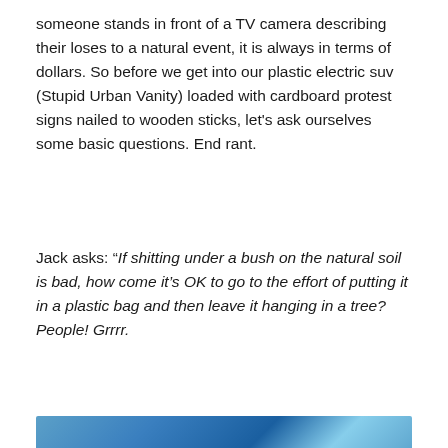someone stands in front of a TV camera describing their loses to a natural event, it is always in terms of dollars. So before we get into our plastic electric suv (Stupid Urban Vanity) loaded with cardboard protest signs nailed to wooden sticks, let's ask ourselves some basic questions. End rant.
Jack asks: “If shitting under a bush on the natural soil is bad, how come it’s OK to go to the effort of putting it in a plastic bag and then leave it hanging in a tree? People! Grrrr.
[Figure (photo): Partial view of a blue sky or water background image strip at the bottom of the page]